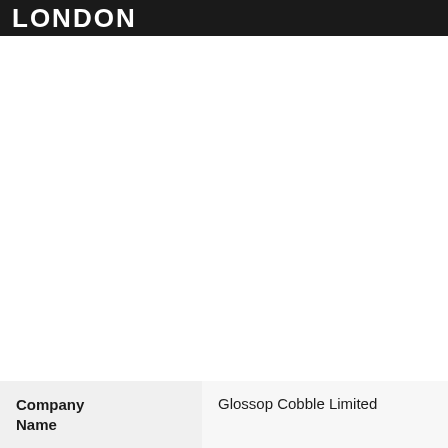LONDON
| Company Name | Glossop Cobble Limited |
| --- | --- |
| Company Name | Glossop Cobble Limited |